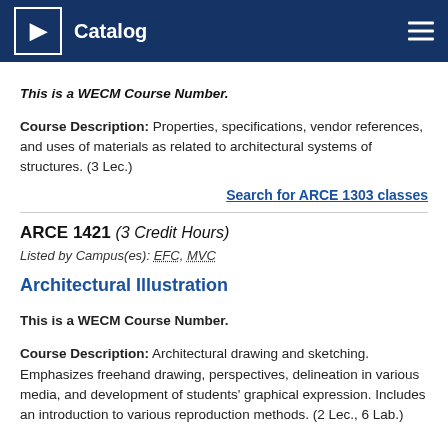Catalog
This is a WECM Course Number.
Course Description: Properties, specifications, vendor references, and uses of materials as related to architectural systems of structures. (3 Lec.)
Search for ARCE 1303 classes
ARCE 1421 (3 Credit Hours) Listed by Campus(es): EFC, MVC
Architectural Illustration
This is a WECM Course Number.
Course Description: Architectural drawing and sketching. Emphasizes freehand drawing, perspectives, delineation in various media, and development of students' graphical expression. Includes an introduction to various reproduction methods. (2 Lec., 6 Lab.)